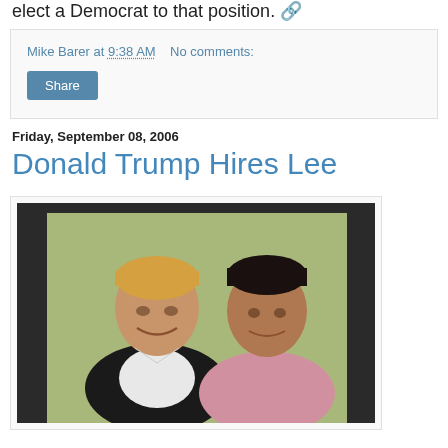elect a Democrat to that position.
Mike Barer at 9:38 AM    No comments:
Share
Friday, September 08, 2006
Donald Trump Hires Lee
[Figure (photo): Photo of two men standing together indoors. Man on left wearing dark suit jacket with white shirt, older gentleman with blonde hair. Man on right wearing pink shirt, younger with dark hair. Background is light green wall.]